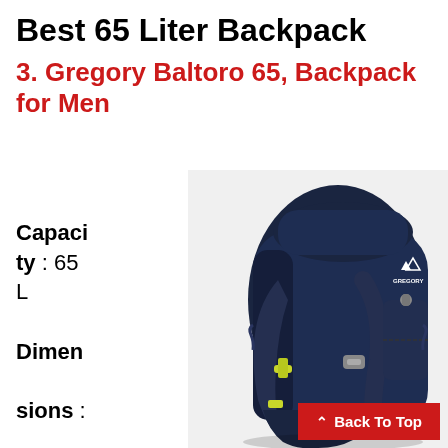Best 65 Liter Backpack
3. Gregory Baltoro 65, Backpack for Men
Capacity : 65 L
Dimensions : 27.17" x 16.93" x
[Figure (photo): Gregory Baltoro 65 backpack for men, navy blue color with yellow-green accents, shown from the back/side angle]
Back To Top